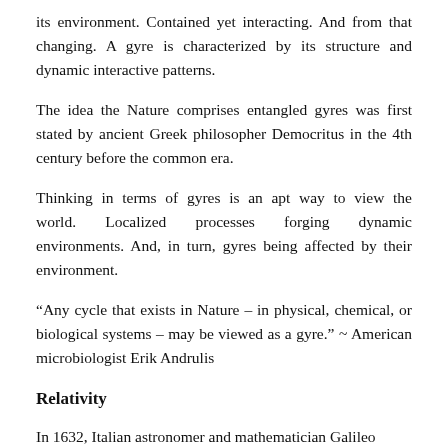its environment. Contained yet interacting. And from that changing. A gyre is characterized by its structure and dynamic interactive patterns.
The idea the Nature comprises entangled gyres was first stated by ancient Greek philosopher Democritus in the 4th century before the common era.
Thinking in terms of gyres is an apt way to view the world. Localized processes forging dynamic environments. And, in turn, gyres being affected by their environment.
“Any cycle that exists in Nature – in physical, chemical, or biological systems – may be viewed as a gyre.” ~ American microbiologist Erik Andrulis
Relativity
In 1632, Italian astronomer and mathematician Galileo